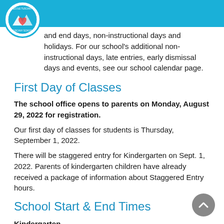Ecole Tuscany School
and end days, non-instructional days and holidays. For our school's additional non-instructional days, late entries, early dismissal days and events, see our school calendar page.
First Day of Classes
The school office opens to parents on Monday, August 29, 2022 for registration.
Our first day of classes for students is Thursday, September 1, 2022.
There will be staggered entry for Kindergarten on Sept. 1, 2022. Parents of kindergarten children have already received a package of information about Staggered Entry hours.
School Start & End Times
Kindergarten
AM Kindergarten: Monday – Thursday 8:27 – 11:15 AM